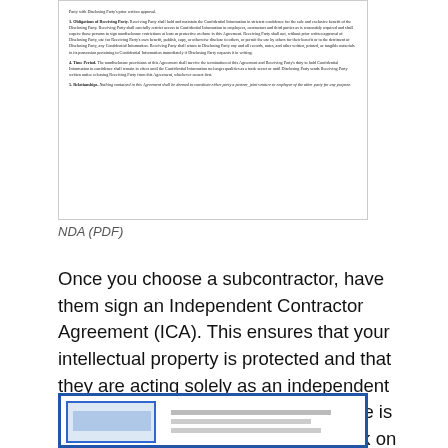[Figure (screenshot): Thumbnail image of an NDA PDF document showing numbered sections including Obligations of Receiving Party, Time Period, and Relationships clauses in small serif text.]
NDA (PDF)
Once you choose a subcontractor, have them sign an Independent Contractor Agreement (ICA). This ensures that your intellectual property is protected and that they are acting solely as an independent contractor and not an employee.  Here is an ICA you might consider using (click on an image to access the document):
[Figure (screenshot): Thumbnail image of an Independent Contractor Agreement (ICA) document with blue border, showing a nested blue rectangle and document content.]